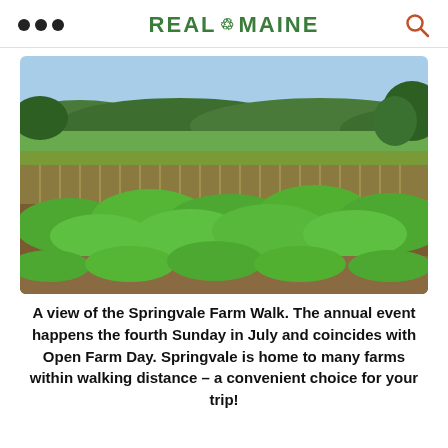REAL MAINE
[Figure (photo): A view of a farm with rows of leafy green plants in the foreground, rows of corn in the middle ground, and a green hillside with trees in the background under a blue sky.]
A view of the Springvale Farm Walk. The annual event happens the fourth Sunday in July and coincides with Open Farm Day. Springvale is home to many farms within walking distance – a convenient choice for your trip!